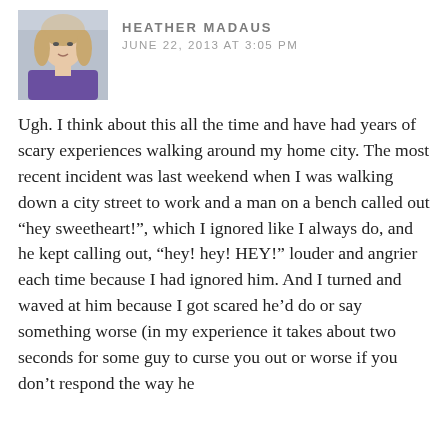[Figure (photo): Profile photo of a woman with light hair, wearing a purple top, cropped portrait style]
HEATHER MADAUS
JUNE 22, 2013 AT 3:05 PM
Ugh. I think about this all the time and have had years of scary experiences walking around my home city. The most recent incident was last weekend when I was walking down a city street to work and a man on a bench called out “hey sweetheart!”, which I ignored like I always do, and he kept calling out, “hey! hey! HEY!” louder and angrier each time because I had ignored him. And I turned and waved at him because I got scared he’d do or say something worse (in my experience it takes about two seconds for some guy to curse you out or worse if you don’t respond the way he wants). So I waved at him, then quietly...